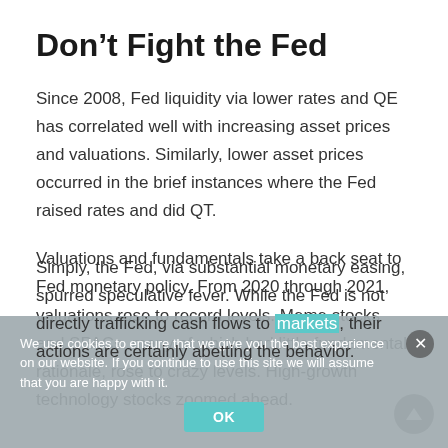Don’t Fight the Fed
Since 2008, Fed liquidity via lower rates and QE has correlated well with increasing asset prices and valuations. Similarly, lower asset prices occurred in the brief instances where the Fed raised rates and did QT.
Valuations and fundamentals take a back seat to Fed monetary policy. From 2020 through 2021, valuations rose to record levels. Meme stocks and SPACs, many of which had little fundamental rationale, rose to crazy levels. High-growth technology stocks zoomed ahead.
Simply, the Fed, via substantial monetary easing, spurred speculative fever. While the Fed is not directly trafficking cash flows to markets, their actions are certainly abetting the behavior.
We use cookies to ensure that we give you the best experience on our website. If you continue to use this site we will assume that you are happy with it.